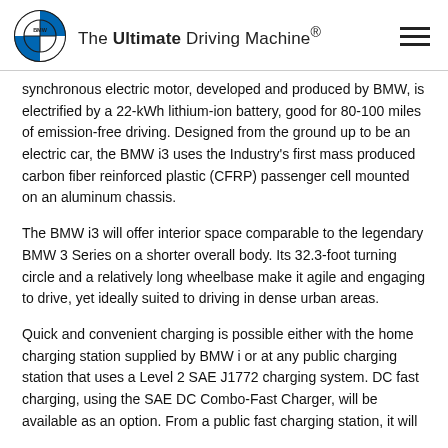The Ultimate Driving Machine®
synchronous electric motor, developed and produced by BMW, is electrified by a 22-kWh lithium-ion battery, good for 80-100 miles of emission-free driving. Designed from the ground up to be an electric car, the BMW i3 uses the Industry's first mass produced carbon fiber reinforced plastic (CFRP) passenger cell mounted on an aluminum chassis.
The BMW i3 will offer interior space comparable to the legendary BMW 3 Series on a shorter overall body. Its 32.3-foot turning circle and a relatively long wheelbase make it agile and engaging to drive, yet ideally suited to driving in dense urban areas.
Quick and convenient charging is possible either with the home charging station supplied by BMW i or at any public charging station that uses a Level 2 SAE J1772 charging system. DC fast charging, using the SAE DC Combo-Fast Charger, will be available as an option. From a public fast charging station, it will